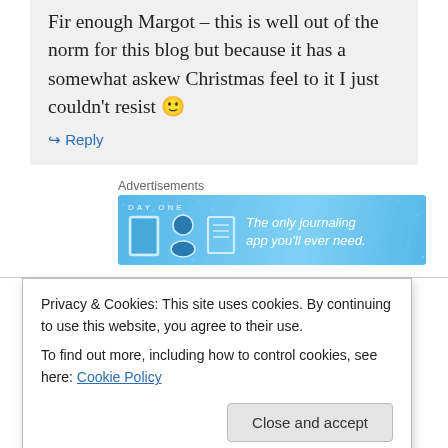Fir enough Margot – this is well out of the norm for this blog but because it has a somewhat askew Christmas feel to it I just couldn't resist 🙂
↳ Reply
Advertisements
[Figure (illustration): Day One journaling app advertisement banner with blue background, icons of a door, person, and notebook, text: 'The only journaling app you'll ever need.']
dfordoom on 16 December 2014 at 4:12 am
Privacy & Cookies: This site uses cookies. By continuing to use this website, you agree to their use.
To find out more, including how to control cookies, see here: Cookie Policy
Close and accept
he turned out to be absolutely correct